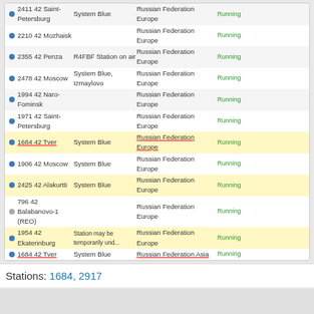|  | ID | Name | Location | Status |
| --- | --- | --- | --- | --- |
| ● | 2411 42 Saint-Petersburg | System Blue | Russian Federation Europe | Running |
| ● | 2210 42 Mozhaisk |  | Russian Federation Europe | Running |
| ● | 2355 42 Penza | R4FBF Station on air | Russian Federation Europe | Running |
| ● | 2478 42 Moscow | System Blue, Izmaylovo | Russian Federation Europe | Running |
| ● | 1994 42 Naro-Fominsk |  | Russian Federation Europe | Running |
| ● | 1971 42 Saint-Petersburg |  | Russian Federation Europe | Running |
| ● | 1684 42 Tver | System Blue | Russian Federation Europe | Running |
| ● | 1906 42 Moscow | System Blue | Russian Federation Europe | Running |
| ● | 2425 42 Alakurtti | System Blue | Russian Federation Europe | Running |
| ● | 796 42 Balabanovo-1 (REO) |  | Russian Federation Europe | Running |
| ● | 1954 42 Ekaterinburg | Station may be temporarily und... | Russian Federation Europe | Running |
| ● | 1684 42 Tver | System Blue | Russian Federation Asia | Running |
Stations: 1684, 2917
cutty
Moderator
2020-08-19, 15:10
malyan Wrote:
Station 1684
Why is the Asian listing displayed? How can you remove Asian? Le